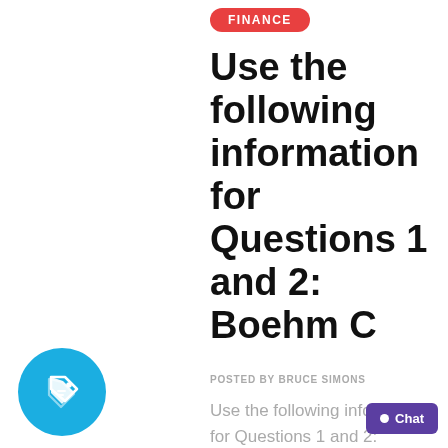FINANCE
Use the following information for Questions 1 and 2: Boehm C
POSTED BY BRUCE SIMONS
Use the following information for Questions 1 and 2: Boehm Corporation has had stable earnings growth of 8% a year for the past 10 years and in 2013 Boehm paid dividends of
[Figure (illustration): Blue circle with white price tag icon]
[Figure (other): Purple chat button in bottom right corner]